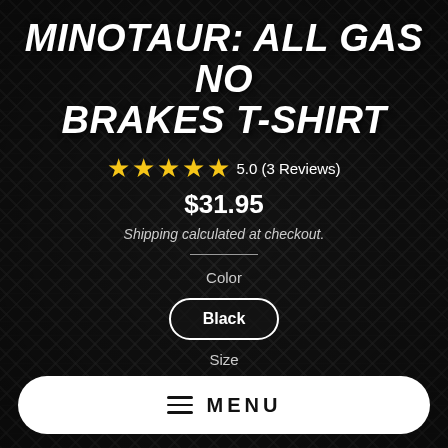MINOTAUR: ALL GAS NO BRAKES T-SHIRT
5.0 (3 Reviews)
$31.95
Shipping calculated at checkout.
Color
Black
Size
MENU